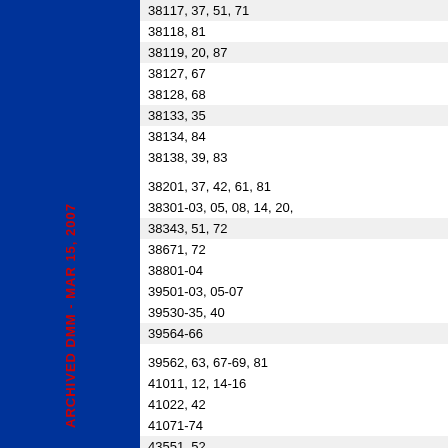ARCHIVED DMM - MAR 15, 2007
38117, 37, 51, 71
38118, 81
38119, 20, 87
38127, 67
38128, 68
38133, 35
38134, 84
38138, 39, 83
38201, 37, 42, 61, 81
38301-03, 05, 08, 14, 20,
38343, 51, 72
38671, 72
38801-04
39501-03, 05-07
39530-35, 40
39564-66
39562, 63, 67-69, 81
41011, 12, 14-16
41022, 42
41071-74
43551, 52
43610, 20